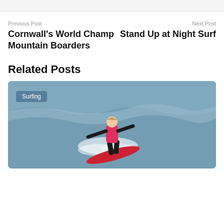Previous Post
Cornwall's World Champ Mountain Boarders
Next Post
Stand Up at Night Surf
Related Posts
[Figure (photo): A surfer in a pink wetsuit performing a maneuver on a red surfboard with ocean spray, with a 'Surfing' category tag overlaid on the image]